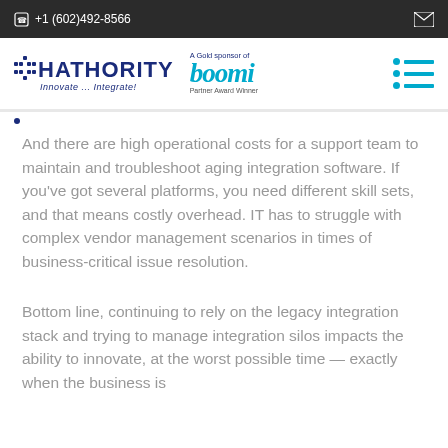+1 (602)492-8566
[Figure (logo): Hathority logo with tagline 'Innovate... Integrate!' and Boomi Gold Sponsor Partner Award Winner badge, plus hamburger menu icon]
And there are high operational costs for a support team to maintain and troubleshoot aging integration software. If you've got several platforms, you need different skill sets, and that means costly overhead. IT has to struggle with complex vendor management scenarios in times of business-critical issue resolution.
Bottom line, continuing to rely on the legacy integration stack and trying to manage integration silos impacts the ability to innovate, at the worst possible time — exactly when the business is